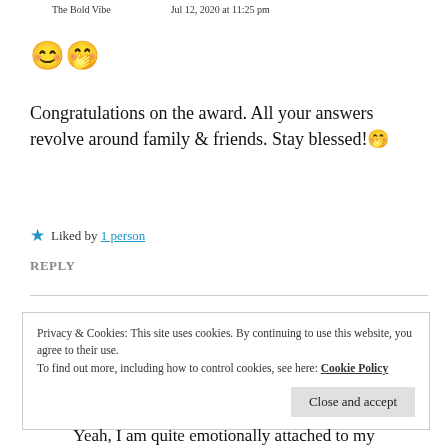The Bold Vibe   Jul 12, 2020 at 11:25 pm
😊🤭
Congratulations on the award. All your answers revolve around family & friends. Stay blessed!🤭
★ Liked by 1 person
REPLY
Privacy & Cookies: This site uses cookies. By continuing to use this website, you agree to their use.
To find out more, including how to control cookies, see here: Cookie Policy
Close and accept
Yeah, I am quite emotionally attached to my